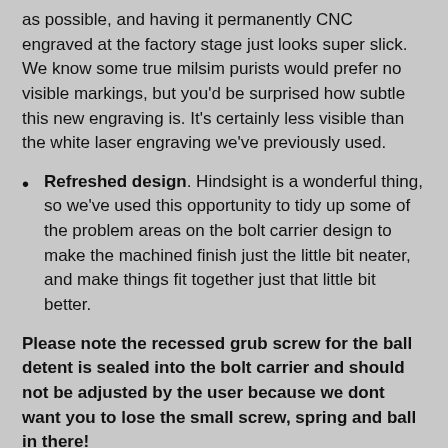as possible, and having it permanently CNC engraved at the factory stage just looks super slick. We know some true milsim purists would prefer no visible markings, but you'd be surprised how subtle this new engraving is. It's certainly less visible than the white laser engraving we've previously used.
Refreshed design. Hindsight is a wonderful thing, so we've used this opportunity to tidy up some of the problem areas on the bolt carrier design to make the machined finish just the little bit neater, and make things fit together just that little bit better.
Please note the recessed grub screw for the ball detent is sealed into the bolt carrier and should not be adjusted by the user because we dont want you to lose the small screw, spring and ball in there!
There is an assembly video here.